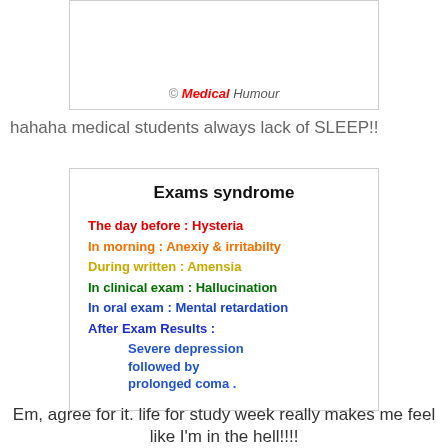[Figure (illustration): Partial image of a humorous medical meme with '© Medical Humour' watermark at the bottom]
hahaha medical students always lack of SLEEP!!
[Figure (infographic): Exams syndrome infographic listing: The day before: Hysteria; In morning: Anexiy & irritabilty; During written: Amensia; In clinical exam: Hallucination; In oral exam: Mental retardation; After Exam Results: Severe depression followed by prolonged coma.]
Em, agree for it. life for study week really makes me feel like I'm in the hell!!!!